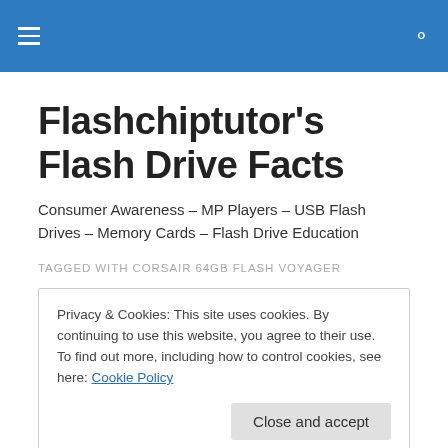Flashchiptutor's Flash Drive Facts
Flashchiptutor's Flash Drive Facts
Consumer Awareness – MP Players – USB Flash Drives – Memory Cards – Flash Drive Education
TAGGED WITH CORSAIR 64GB FLASH VOYAGER
Privacy & Cookies: This site uses cookies. By continuing to use this website, you agree to their use.
To find out more, including how to control cookies, see here: Cookie Policy
Close and accept